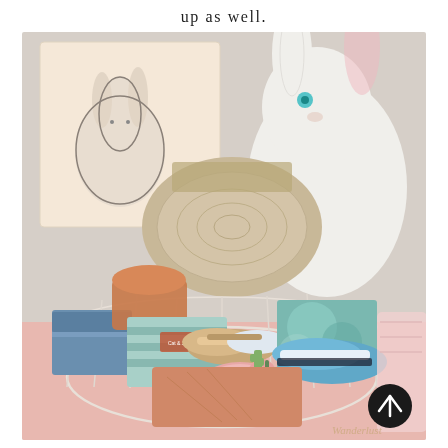up as well.
[Figure (photo): A wire basket filled with baby and toddler items including folded denim jeans, a striped teal outfit, tan sandals, teal sneakers, pink items, terracotta/peach clothing, and a small decorative cactus. Behind the basket sits a bunny illustration card, a beige pillow/cushion, and a large white ceramic bunny figurine with teal eyes. Items are arranged on a pink surface. A dark circular back-to-top button appears in the lower right corner.]